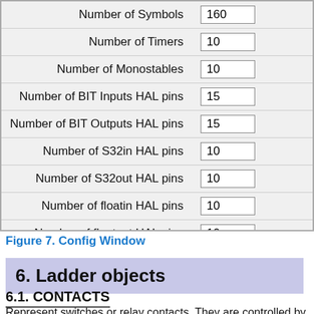| Label | Value |
| --- | --- |
| Number of Symbols | 160 |
| Number of Timers | 10 |
| Number of Monostables | 10 |
| Number of BIT Inputs HAL pins | 15 |
| Number of BIT Outputs HAL pins | 15 |
| Number of S32in HAL pins | 10 |
| Number of S32out HAL pins | 10 |
| Number of floatin HAL pins | 10 |
| Number of floatout HAL pins | 10 |
| Current path/filename | custom.clp |
Figure 7. Config Window
6. Ladder objects
6.1. CONTACTS
Represent switches or relay contacts. They are controlled by